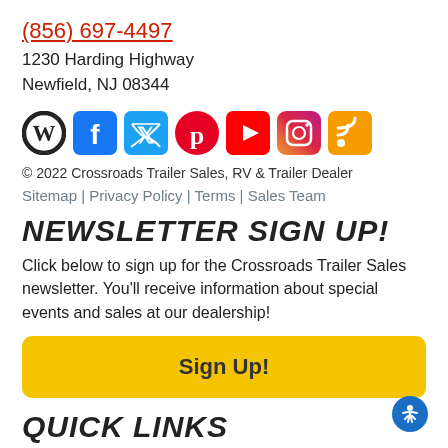(856) 697-4497
1230 Harding Highway
Newfield, NJ 08344
[Figure (other): Social media icons: WordPress, Facebook, Twitter, Pinterest, YouTube, Instagram, RSS feed]
© 2022 Crossroads Trailer Sales, RV & Trailer Dealer
Sitemap | Privacy Policy | Terms | Sales Team
NEWSLETTER SIGN UP!
Click below to sign up for the Crossroads Trailer Sales newsletter. You'll receive information about special events and sales at our dealership!
Sign Up!
QUICK LINKS